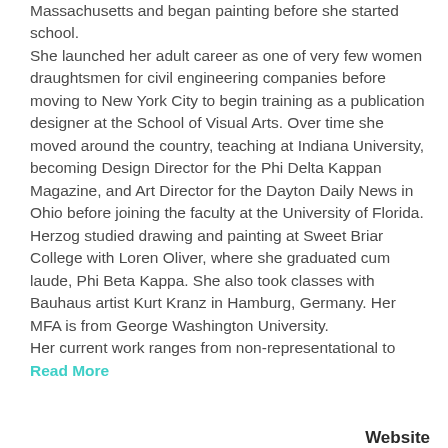Massachusetts and began painting before she started school. She launched her adult career as one of very few women draughtsmen for civil engineering companies before moving to New York City to begin training as a publication designer at the School of Visual Arts. Over time she moved around the country, teaching at Indiana University, becoming Design Director for the Phi Delta Kappan Magazine, and Art Director for the Dayton Daily News in Ohio before joining the faculty at the University of Florida. Herzog studied drawing and painting at Sweet Briar College with Loren Oliver, where she graduated cum laude, Phi Beta Kappa. She also took classes with Bauhaus artist Kurt Kranz in Hamburg, Germany. Her MFA is from George Washington University. Her current work ranges from non-representational to Read More
Website